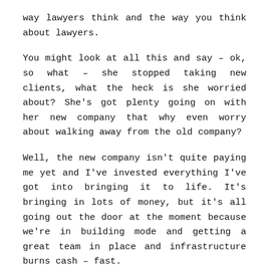way lawyers think and the way you think about lawyers.
You might look at all this and say – ok, so what – she stopped taking new clients, what the heck is she worried about? She's got plenty going on with her new company that why even worry about walking away from the old company?
Well, the new company isn't quite paying me yet and I've invested everything I've got into bringing it to life. It's bringing in lots of money, but it's all going out the door at the moment because we're in building mode and getting a great team in place and infrastructure burns cash – fast.
My single biggest fear in the world is running out of